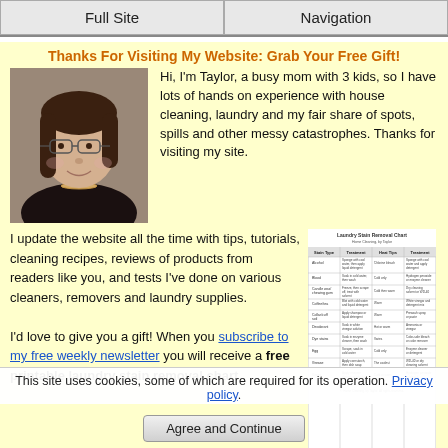Full Site | Navigation
Thanks For Visiting My Website: Grab Your Free Gift!
[Figure (photo): Portrait photo of Taylor, a woman with dark hair and glasses, smiling]
Hi, I'm Taylor, a busy mom with 3 kids, so I have lots of hands on experience with house cleaning, laundry and my fair share of spots, spills and other messy catastrophes. Thanks for visiting my site.
I update the website all the time with tips, tutorials, cleaning recipes, reviews of products from readers like you, and tests I've done on various cleaners, removers and laundry supplies.
[Figure (table-as-image): Laundry Stain Removal Chart - a printable chart with columns for Stain Type, Treatment, Heat Tips, and Treatment details]
I'd love to give you a gift! When you subscribe to my free weekly newsletter you will receive a free printable laundry stain removal chart
This site uses cookies, some of which are required for its operation. Privacy policy.
Agree and Continue